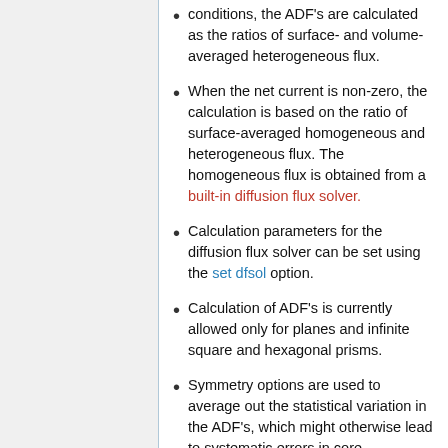conditions, the ADF's are calculated as the ratios of surface- and volume-averaged heterogeneous flux.
When the net current is non-zero, the calculation is based on the ratio of surface-averaged homogeneous and heterogeneous flux. The homogeneous flux is obtained from a built-in diffusion flux solver.
Calculation parameters for the diffusion flux solver can be set using the set dfsol option.
Calculation of ADF's is currently allowed only for planes and infinite square and hexagonal prisms.
Symmetry options are used to average out the statistical variation in the ADF's, which might otherwise lead to systematic errors in core calculations. It is important that the